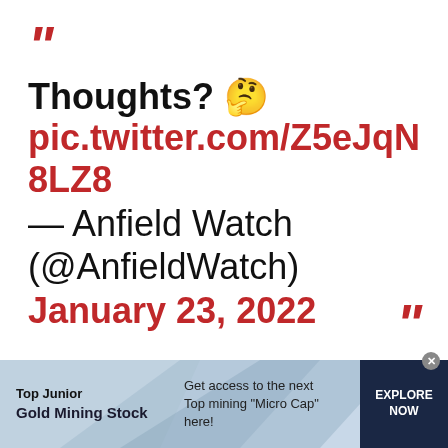Thoughts? 🤔 pic.twitter.com/Z5eJqN8LZ8 — Anfield Watch (@AnfieldWatch) January 23, 2022
[Figure (infographic): Advertisement banner: Top Junior Gold Mining Stock. Get access to the next Top mining 'Micro Cap' here! EXPLORE NOW]
Top Junior Gold Mining Stock — Get access to the next Top mining "Micro Cap" here! EXPLORE NOW